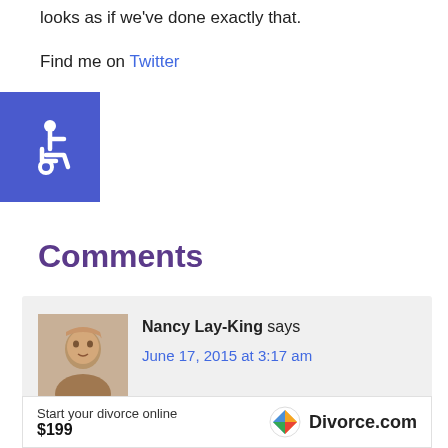looks as if we've done exactly that.
Find me on Twitter
[Figure (illustration): Blue accessibility icon button with wheelchair symbol in white]
Comments
Nancy Lay-King says
June 17, 2015 at 3:17 am
I never believed that infidelity was a reason to end a marriage, but I now know that when a spouse or partner lie about one thing, they are most probably being deceptive about other
Start your divorce online $199 Divorce.com